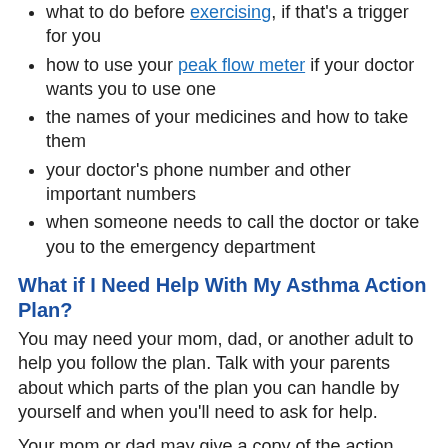what to do before exercising, if that's a trigger for you
how to use your peak flow meter if your doctor wants you to use one
the names of your medicines and how to take them
your doctor's phone number and other important numbers
when someone needs to call the doctor or take you to the emergency department
What if I Need Help With My Asthma Action Plan?
You may need your mom, dad, or another adult to help you follow the plan. Talk with your parents about which parts of the plan you can handle by yourself and when you'll need to ask for help.
Your mom or dad may give a copy of the action plan to